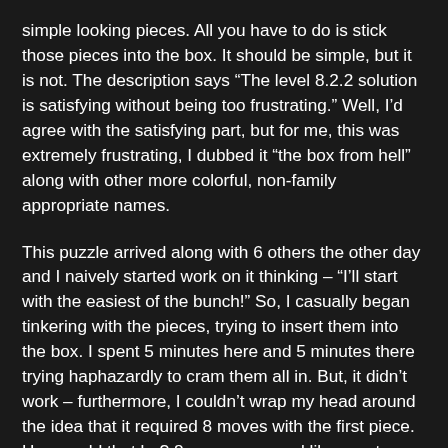simple looking pieces. All you have to do is stick those pieces into the box. It should be simple, but it is not. The description says “The level 8.2.2 solution is satisfying without being too frustrating.” Well, I’d agree with the satisfying part, but for me, this was extremely frustrating, I dubbed it “the box from hell” along with other more colorful, non-family appropriate names.
This puzzle arrived along with 6 others the other day and I naively started work on it thinking – “I’ll start with the easiest of the bunch!” So, I casually began tinkering with the pieces, trying to insert them into the box. I spent 5 minutes here and 5 minutes there trying haphazardly to cram them all in. But, it didn’t work – furthermore, I couldn’t wrap my head around the idea that it required 8 moves with the first piece. How could that be? 8 moves seemed like way too many for the options I was faced with.